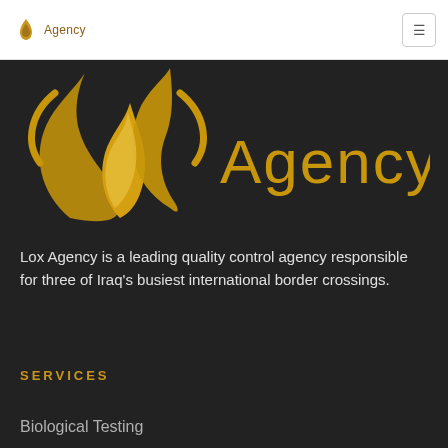lox Agency
[Figure (logo): Lox Agency logo with golden flame/drop SVG icon and 'Agency' text in gold on dark background]
Lox Agency is a leading quality control agency responsible for three of Iraq's busiest international border crossings.
SERVICES
Biological Testing
Chemical Testing